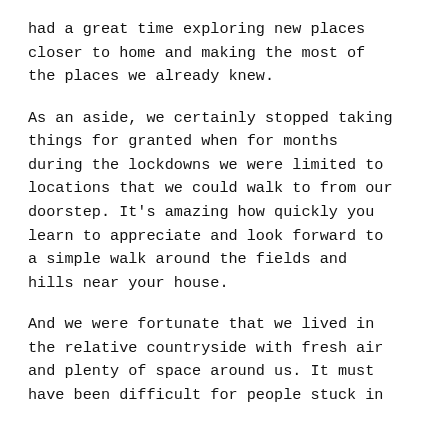had a great time exploring new places closer to home and making the most of the places we already knew.
As an aside, we certainly stopped taking things for granted when for months during the lockdowns we were limited to locations that we could walk to from our doorstep. It's amazing how quickly you learn to appreciate and look forward to a simple walk around the fields and hills near your house.
And we were fortunate that we lived in the relative countryside with fresh air and plenty of space around us. It must have been difficult for people stuck in